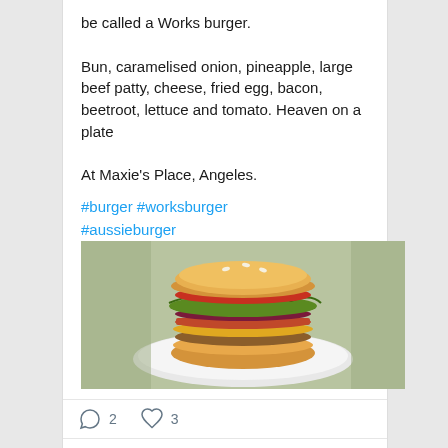be called a Works burger.

Bun, caramelised onion, pineapple, large beef patty, cheese, fried egg, bacon, beetroot, lettuce and tomato. Heaven on a plate

At Maxie's Place, Angeles.
#burger #worksburger #aussieburger
[Figure (photo): A large burger with multiple layers including lettuce, tomato, bacon, and a beef patty on a white plate]
2   3
Thomo the Lost